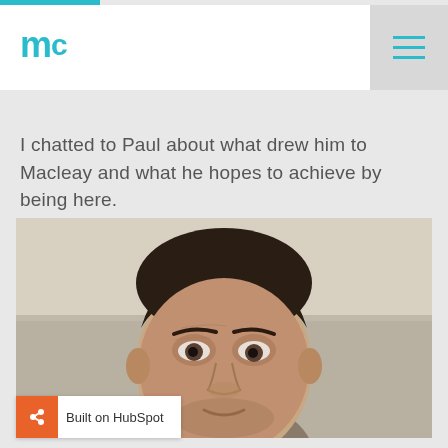mc — Macleay College logo with hamburger menu
I chatted to Paul about what drew him to Macleay and what he hopes to achieve by being here.
[Figure (photo): Close-up portrait photo of a man (Paul) with short dark hair, looking slightly upward to the left, against a plain light background.]
Built on HubSpot